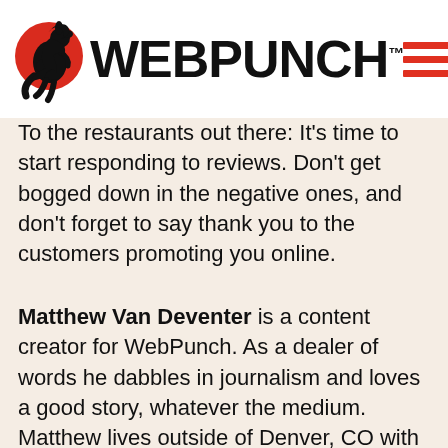WEBPUNCH
To the restaurants out there: It's time to start responding to reviews. Don't get bogged down in the negative ones, and don't forget to say thank you to the customers promoting you online.
Matthew Van Deventer is a content creator for WebPunch. As a dealer of words he dabbles in journalism and loves a good story, whatever the medium. Matthew lives outside of Denver, CO with his wife, daughter, and pup, Chewy.